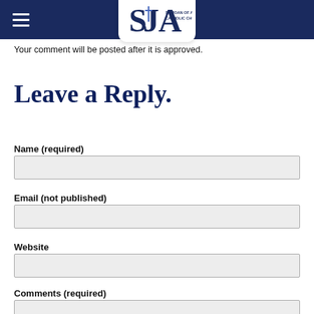St. Joan of Arc Catholic Church
Your comment will be posted after it is approved.
Leave a Reply.
Name (required)
Email (not published)
Website
Comments (required)